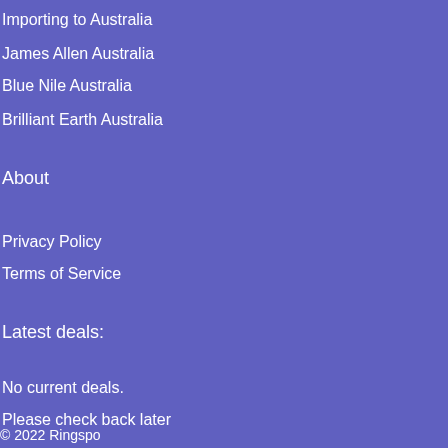Importing to Australia
James Allen Australia
Blue Nile Australia
Brilliant Earth Australia
About
Privacy Policy
Terms of Service
Latest deals:
No current deals.
Please check back later
© 2022 Ringspo